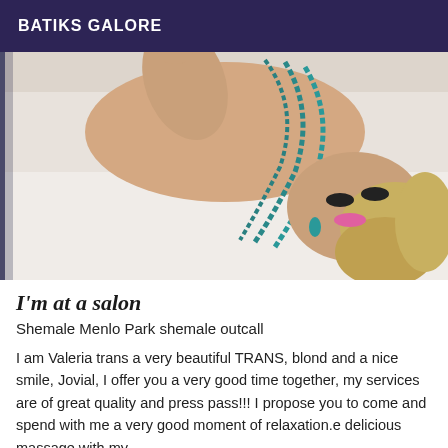BATIKS GALORE
[Figure (photo): A person with blonde hair and pink lipstick lying down, wearing teal/turquoise beaded necklace strands, photographed from an overhead angle against a white background.]
I'm at a salon
Shemale Menlo Park shemale outcall
I am Valeria trans a very beautiful TRANS, blond and a nice smile, Jovial, I offer you a very good time together, my services are of great quality and press pass!!! I propose you to come and spend with me a very good moment of relaxation.e delicious massage with my